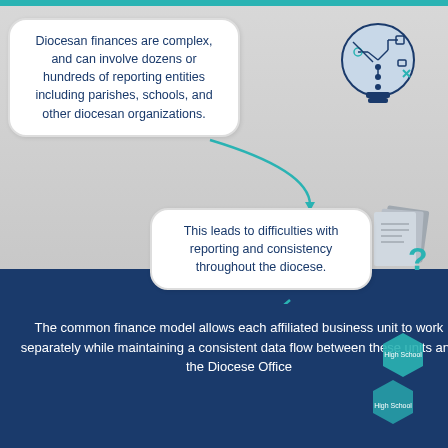Diocesan finances are complex, and can involve dozens or hundreds of reporting entities including parishes, schools, and other diocesan organizations.
[Figure (illustration): Light bulb icon with circuit board pattern inside, representing complexity]
This leads to difficulties with reporting and consistency throughout the diocese.
[Figure (illustration): Document pages with a question mark, representing reporting difficulties]
A growing number of dioceses are moving toward the standardization of accounting software to create a common finance system.
[Figure (illustration): Interlocking gears in teal and dark blue, representing a common finance system]
Common Finance System
The common finance model allows each affiliated business unit to work separately while maintaining a consistent data flow between these units and the Diocese Office
[Figure (illustration): Hexagonal shapes labeled High School at bottom right]